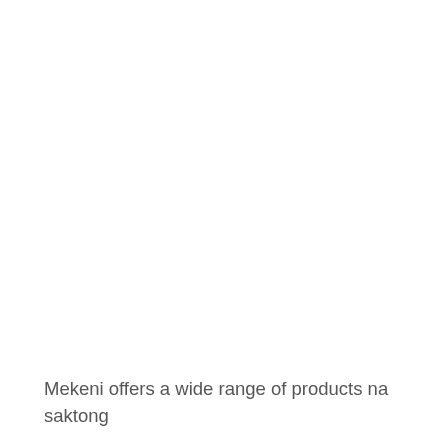Mekeni offers a wide range of products na saktong